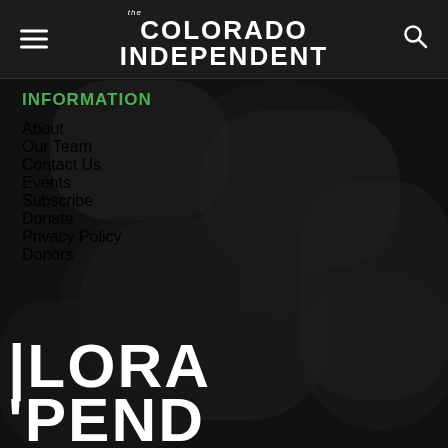The Colorado Independent
INFORMATION
About
Our Team
Contact Us
Events
Subscribe
Donate
Privacy Policy
Donors
[Figure (logo): Partial Colorado Independent logo visible at bottom of page showing LORA and PEND text]